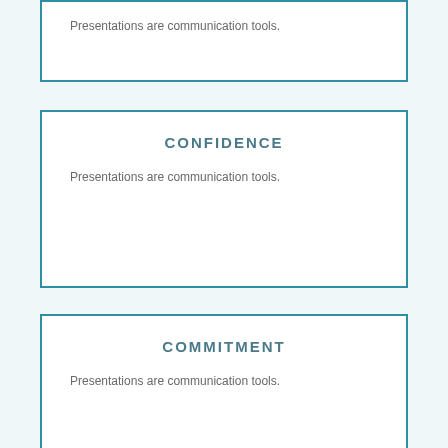Presentations are communication tools.
CONFIDENCE
Presentations are communication tools.
COMMITMENT
Presentations are communication tools.